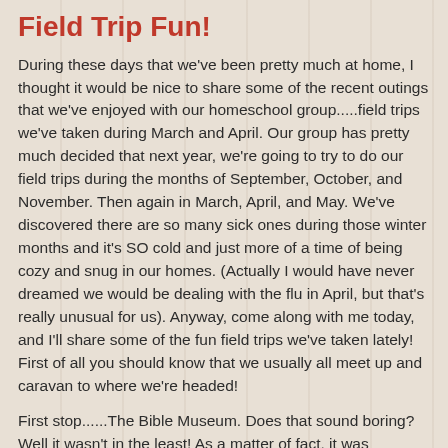Field Trip Fun!
During these days that we've been pretty much at home, I thought it would be nice to share some of the recent outings that we've enjoyed with our homeschool group.....field trips we've taken during March and April. Our group has pretty much decided that next year, we're going to try to do our field trips during the months of September, October, and November. Then again in March, April, and May. We've discovered there are so many sick ones during those winter months and it's SO cold and just more of a time of being cozy and snug in our homes. (Actually I would have never dreamed we would be dealing with the flu in April, but that's really unusual for us). Anyway, come along with me today, and I'll share some of the fun field trips we've taken lately! First of all you should know that we usually all meet up and caravan to where we're headed!
First stop......The Bible Museum. Does that sound boring? Well it wasn't in the least! As a matter of fact, it was awesome! It just made the Bible come alive. Sometimes they just seem like 'stories' that we read like fairy tales. But wh...